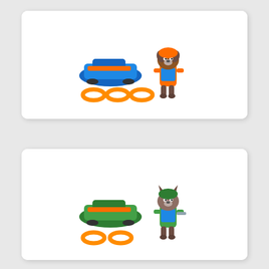[Figure (photo): PAW Patrol Zuma toy figure (orange and blue dog) with a blue hovercraft vehicle and three orange rings/floaties, product photo on white background]
[Figure (photo): PAW Patrol Rocky toy figure (green and blue dog) with a green hovercraft vehicle and two orange rings/floaties, product photo on white background]